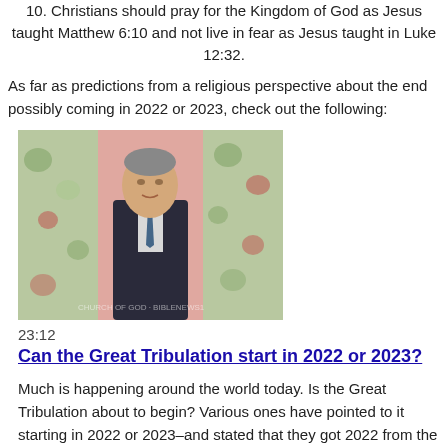10. Christians should pray for the Kingdom of God as Jesus taught Matthew 6:10 and not live in fear as Jesus taught in Luke 12:32.
As far as predictions from a religious perspective about the end possibly coming in 2022 or 2023, check out the following:
[Figure (photo): A man in a dark suit and tie standing in front of floral curtains with a pink background, video thumbnail screenshot]
23:12
Can the Great Tribulation start in 2022 or 2023?
Much is happening around the world today. Is the Great Tribulation about to begin? Various ones have pointed to it starting in 2022 or 2023–and stated that they got 2022 from the Holy Spirit. What about centuries old predictions supposedly pointing to 2022 by Nostradamus and Paracelsus? Some Muslims have pointed to Jesus returning in 2022 or 2023. Is that possible? Should you rely on Jonathan Cahn's views of the 'Shemitah year' to understand prophecy? What about the 'Super Shemitah' (also known as the Jubliee year)? Are there still signs that Jesus and Daniel pointed to that we need to see first? If so, what do they include? What is the earliest year that the Great Tribulation can